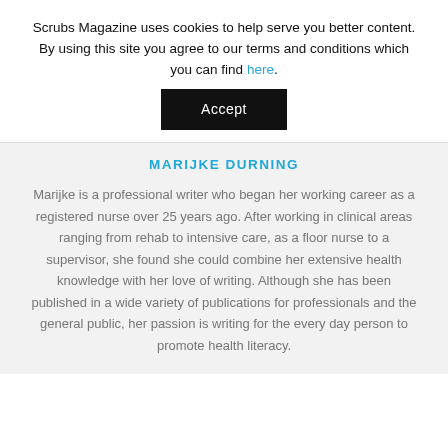Scrubs Magazine uses cookies to help serve you better content. By using this site you agree to our terms and conditions which you can find here.
Accept
MARIJKE DURNING
Marijke is a professional writer who began her working career as a registered nurse over 25 years ago. After working in clinical areas ranging from rehab to intensive care, as a floor nurse to a supervisor, she found she could combine her extensive health knowledge with her love of writing. Although she has been published in a wide variety of publications for professionals and the general public, her passion is writing for the every day person to promote health literacy.